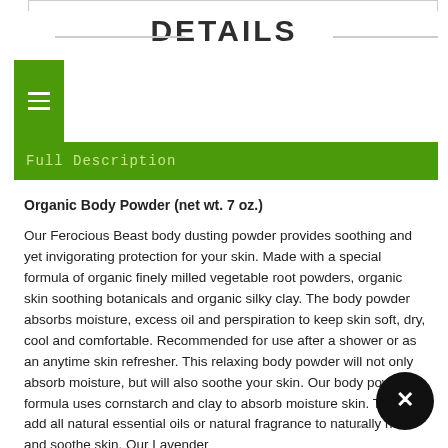DETAILS
Full Description
Organic Body Powder (net wt. 7 oz.)

Our Ferocious Beast body dusting powder provides soothing and yet invigorating protection for your skin. Made with a special formula of organic finely milled vegetable root powders, organic skin soothing botanicals and organic silky clay. The body powder absorbs moisture, excess oil and perspiration to keep skin soft, dry, cool and comfortable. Recommended for use after a shower or as an anytime skin refresher. This relaxing body powder will not only absorb moisture, but will also soothe your skin. Our body powder formula uses cornstarch and clay to absorb moisture skin. Then we add all natural essential oils or natural fragrance to naturally heal and soothe skin. Our Lavender